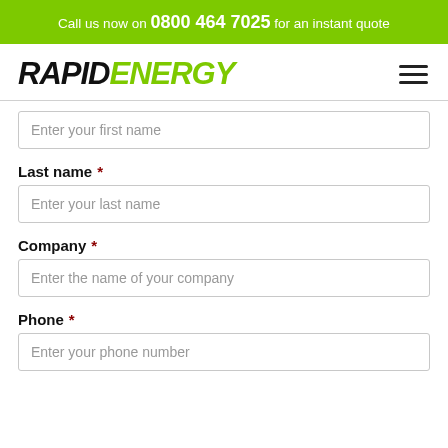Call us now on 0800 464 7025 for an instant quote
[Figure (logo): RapidEnergy logo with RAPID in black italic bold and ENERGY in green italic bold]
Enter your first name
Last name *
Enter your last name
Company *
Enter the name of your company
Phone *
Enter your phone number